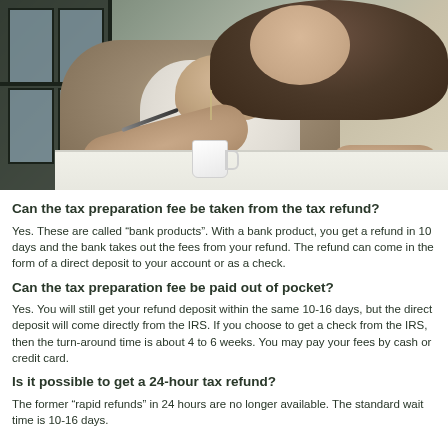[Figure (photo): Woman with long brown hair wearing a gray cardigan and white top, sitting at a white table writing with a pen. A white coffee cup is on the table. A dark window frame is visible in the background. Professional office setting.]
Can the tax preparation fee be taken from the tax refund?
Yes. These are called “bank products”. With a bank product, you get a refund in 10 days and the bank takes out the fees from your refund. The refund can come in the form of a direct deposit to your account or as a check.
Can the tax preparation fee be paid out of pocket?
Yes. You will still get your refund deposit within the same 10-16 days, but the direct deposit will come directly from the IRS. If you choose to get a check from the IRS, then the turn-around time is about 4 to 6 weeks. You may pay your fees by cash or credit card.
Is it possible to get a 24-hour tax refund?
The former “rapid refunds” in 24 hours are no longer available. The standard wait time is 10-16 days.